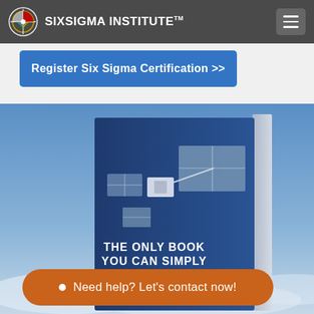SIXSIGMA INSTITUTE™
Register Six Sigma Certification >>
[Figure (photo): A book with a satellite on the cover against a blue sky background. Text on the book reads 'THE ONLY BOOK YOU CAN SIMPLY LEARN SIX SIGMA']
Need help? Let's contact now!